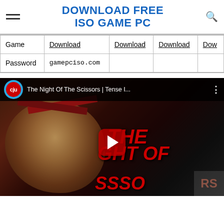DOWNLOAD FREE ISO GAME PC
| Game | Download | Download | Download | Dow |
| --- | --- | --- | --- | --- |
| Password | gamepciso.com |  |  |  |
[Figure (screenshot): YouTube video thumbnail for 'The Night Of The Scissors | Tense I...' showing horror game artwork with a scared face and scissors, red title text on black background, with YouTube channel logo (CJU) and play button overlay.]